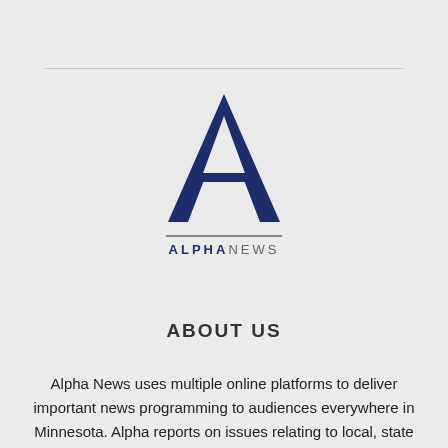[Figure (logo): Alpha News logo: large dark navy letter A with a horizontal bar crossbar, a thin horizontal rule beneath it, and the wordmark ALPHANEWS in spaced capitals — ALPHA in dark navy bold, NEWS in gray regular weight.]
ABOUT US
Alpha News uses multiple online platforms to deliver important news programming to audiences everywhere in Minnesota. Alpha reports on issues relating to local, state and federal government, as well as the people and personalities involved.